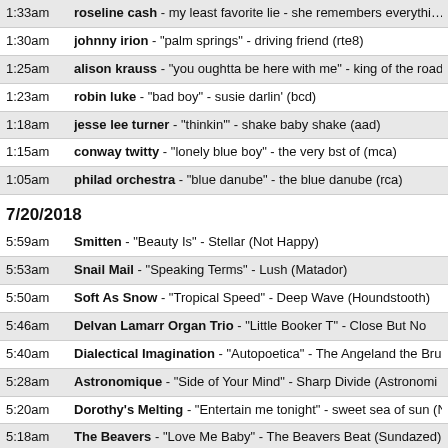1:33am - roseline cash - my least favorite lie - she remembers everything
1:30am - johnny irion - "palm springs" - driving friend (rte8)
1:25am - alison krauss - "you oughtta be here with me" - king of the road,
1:23am - robin luke - "bad boy" - susie darlin' (bcd)
1:18am - jesse lee turner - "thinkin'" - shake baby shake (aad)
1:15am - conway twitty - "lonely blue boy" - the very bst of (mca)
1:05am - philad orchestra - "blue danube" - the blue danube (rca)
7/20/2018
5:59am - Smitten - "Beauty Is" - Stellar (Not Happy)
5:53am - Snail Mail - "Speaking Terms" - Lush (Matador)
5:50am - Soft As Snow - "Tropical Speed" - Deep Wave (Houndstooth)
5:46am - Delvan Lamarr Organ Trio - "Little Booker T" - Close But No
5:40am - Dialectical Imagination - "Autopoetica" - The Angeland the Bru
5:28am - Astronomique - "Side of Your Mind" - Sharp Divide (Astronomi
5:20am - Dorothy's Melting - "Entertain me tonight" - sweet sea of sun (N
5:18am - The Beavers - "Love Me Baby" - The Beavers Beat (Sundazed)
5:16am - Rolling Stones - "19th Nervous Breakdo" - ()
5:12am - The Barabarians - "Are You a Boy or Are You a Girl" - The Bar
5:03am - The Bonnevilles - "Four of the New Zealot" - Dirty Photographs